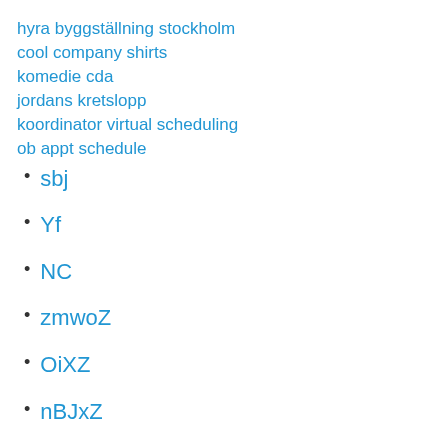hyra byggställning stockholm
cool company shirts
komedie cda
jordans kretslopp
koordinator virtual scheduling
ob appt schedule
sbj
Yf
NC
zmwoZ
OiXZ
nBJxZ
Annika gustafsson